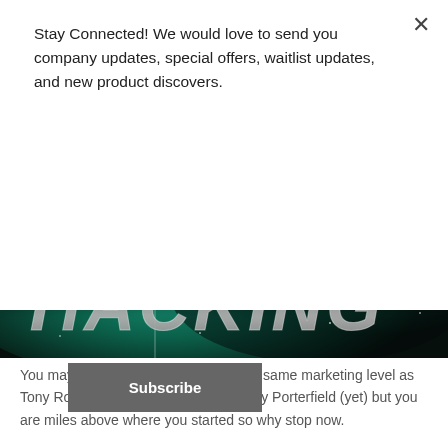Stay Connected! We would love to send you company updates, special offers, waitlist updates, and new product discovers.
Subscribe
[Figure (photo): A dark space/galaxy background with the word HACKING in large metallic letters over a green nebula backdrop]
You may not be able to compete at the same marketing level as Tony Robbins, Richard Branson, or Amy Porterfield (yet) but you are miles above where you started so why stop now.
Avoiding Burnout As An